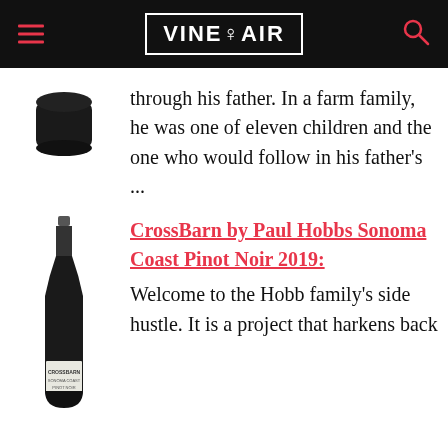VINEPAIR
through his father. In a farm family, he was one of eleven children and the one who would follow in his father's ...
CrossBarn by Paul Hobbs Sonoma Coast Pinot Noir 2019: Welcome to the Hobb family's side hustle. It is a project that harkens back
[Figure (photo): Dark rounded container/cap top view]
[Figure (photo): Wine bottle - CrossBarn by Paul Hobbs Sonoma Coast Pinot Noir]